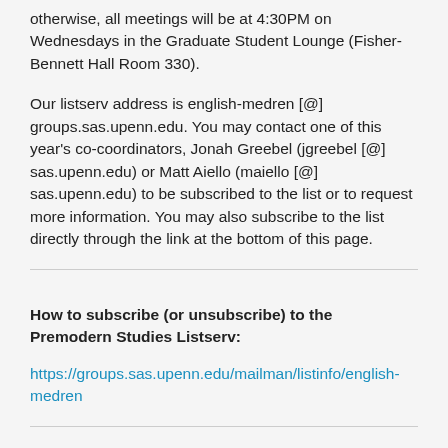otherwise, all meetings will be at 4:30PM on Wednesdays in the Graduate Student Lounge (Fisher-Bennett Hall Room 330).
Our listserv address is english-medren [@] groups.sas.upenn.edu. You may contact one of this year's co-coordinators, Jonah Greebel (jgreebel [@] sas.upenn.edu) or Matt Aiello (maiello [@] sas.upenn.edu) to be subscribed to the list or to request more information. You may also subscribe to the list directly through the link at the bottom of this page.
How to subscribe (or unsubscribe) to the Premodern Studies Listserv:
https://groups.sas.upenn.edu/mailman/listinfo/english-medren